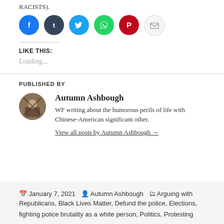RACISTS).
[Figure (other): Social media share buttons: Facebook (blue), Tumblr (dark blue), Twitter (light blue), WhatsApp (green), Pinterest (red), Email (gray)]
LIKE THIS:
Loading...
PUBLISHED BY
Autumn Ashbough
WF writing about the humorous perils of life with Chinese-American significant other.
View all posts by Autumn Ashbough →
January 7, 2021  Autumn Ashbough  Arguing with Republicans, Black Lives Matter, Defund the police, Elections, fighting police brutality as a white person, Politics, Protesting